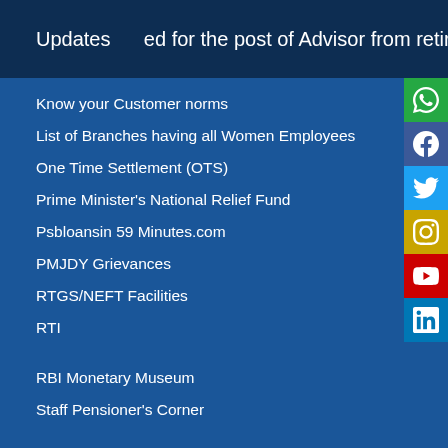Updates   ed for the post of Advisor from retired Executives of Banks on c
Know your Customer norms
List of Branches having all Women Employees
One Time Settlement (OTS)
Prime Minister's National Relief Fund
Psbloansin 59 Minutes.com
PMJDY Grievances
RTGS/NEFT Facilities
RTI
RBI Monetary Museum
Staff Pensioner's Corner